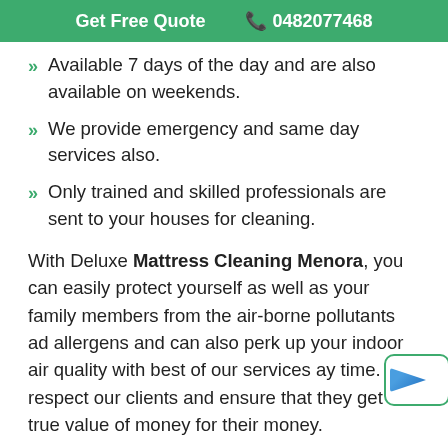Get Free Quote  📞 0482077468
Available 7 days of the day and are also available on weekends.
We provide emergency and same day services also.
Only trained and skilled professionals are sent to your houses for cleaning.
With Deluxe Mattress Cleaning Menora, you can easily protect yourself as well as your family members from the air-borne pollutants ad allergens and can also perk up your indoor air quality with best of our services ay time. We respect our clients and ensure that they get true value of money for their money.
Our Business Opening Hours for Weste... Australia